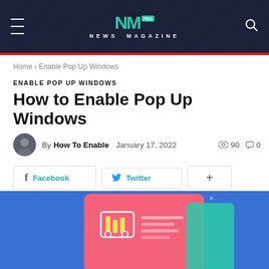NEWS MAGAZINE
Home › Enable Pop Up Windows
ENABLE POP UP WINDOWS
How to Enable Pop Up Windows
By How To Enable  January 17, 2022  👁 90  💬 0
[Figure (screenshot): Social share buttons: Facebook, Twitter, and a plus button]
[Figure (illustration): Blue background with a pink card showing a shopping cart illustration and a teal phone/device, suggesting an e-commerce pop-up window concept]